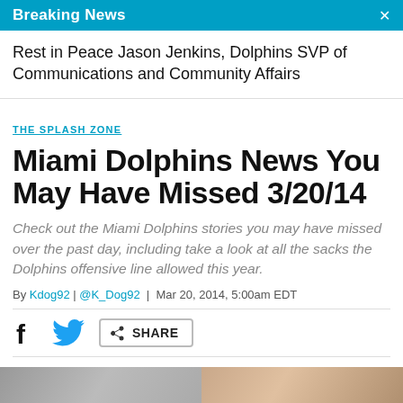Breaking News
Rest in Peace Jason Jenkins, Dolphins SVP of Communications and Community Affairs
THE SPLASH ZONE
Miami Dolphins News You May Have Missed 3/20/14
Check out the Miami Dolphins stories you may have missed over the past day, including take a look at all the sacks the Dolphins offensive line allowed this year.
By Kdog92 | @K_Dog92 | Mar 20, 2014, 5:00am EDT
[Figure (infographic): Social share bar with Facebook icon, Twitter bird icon, and a SHARE button with share arrow icon]
[Figure (photo): Bottom strip showing partial images, two side-by-side photo thumbnails]